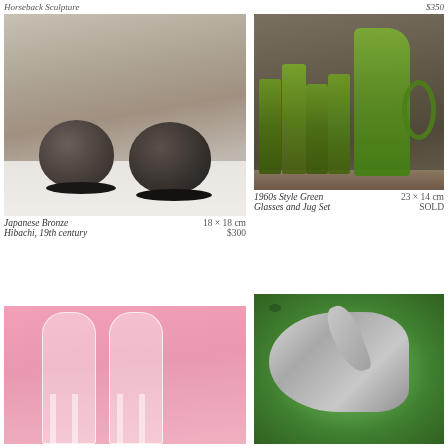Horseback Sculpture    $350
[Figure (photo): Two dark bronze cylindrical hibachi bowls on a white cloth with grey wooden background]
Japanese Bronze Hibachi, 19th century    18 × 18 cm    $300
[Figure (photo): Set of green ribbed glass cups and a green glass jug with handle on a wooden shelf]
1960s Style Green Glasses and Jug Set    23 × 14 cm    SOLD
[Figure (photo): Two clear glass chairs with curved backs on pink background]
[Figure (photo): Silver metallic swan sculpture on green terrazzo surface]